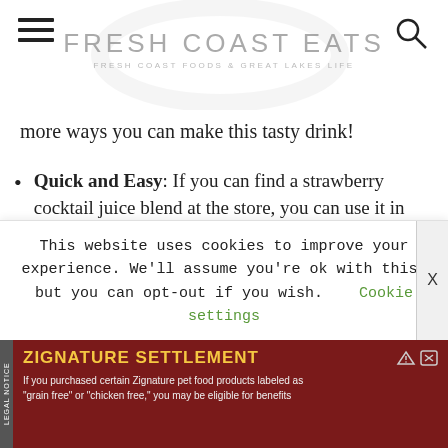FRESH COAST EATS — FRESH COAST FOODS & GREAT LAKES LIFE
more ways you can make this tasty drink!
Quick and Easy: If you can find a strawberry cocktail juice blend at the store, you can use it in place of the puree for a super easy recipe.
Strawberry Mixer: Some versions I tested used a strawberry cocktail mixer. If you
This website uses cookies to improve your experience. We'll assume you're ok with this, but you can opt-out if you wish.    Cookie settings    X
ZIGNATURE SETTLEMENT — If you purchased certain Zignature pet food products labeled as "grain free" or "chicken free," you may be eligible for benefits